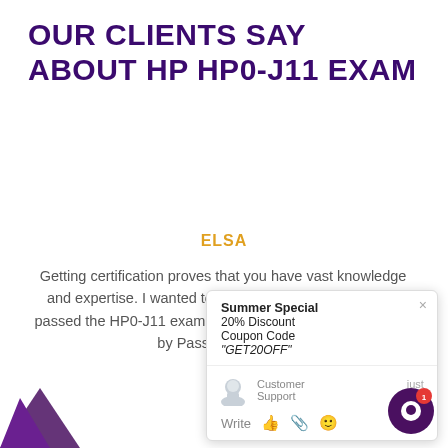OUR CLIENTS SAY ABOUT HP HP0-J11 EXAM
ELSA
Getting certification proves that you have vast knowledge and expertise. I wanted to prove my expertise, and so I passed the HP0-J11 exam, by using exam material offered by PassExam4Sure.
[Figure (screenshot): Chat popup overlay showing Summer Special 20% Discount, Coupon Code 'GET20OFF', Customer Support chat interface with write options and emoji icons]
[Figure (illustration): Purple chat bubble button with notification badge showing '1' in bottom right corner]
[Figure (illustration): Purple arrow decoration in bottom left corner]